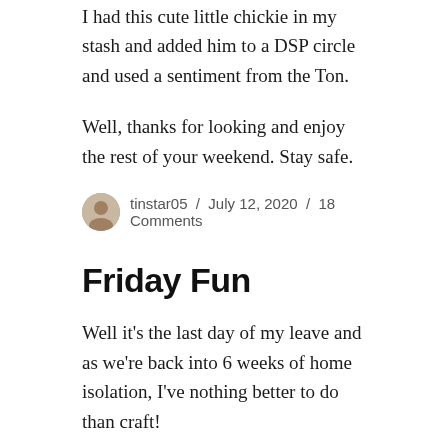I had this cute little chickie in my stash and added him to a DSP circle and used a sentiment from the Ton.
Well, thanks for looking and enjoy the rest of your weekend. Stay safe.
tinstar05 / July 12, 2020 / 18 Comments
Friday Fun
Well it's the last day of my leave and as we're back into 6 weeks of home isolation, I've nothing better to do than craft!
First up is a card for The Library Challenge #62